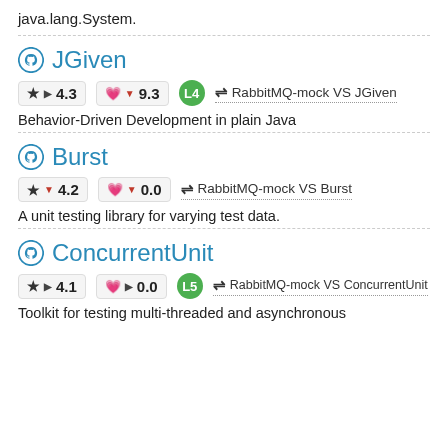java.lang.System.
JGiven
★ ▶ 4.3   💗 ▼ 9.3   L4   ⇌ RabbitMQ-mock VS JGiven
Behavior-Driven Development in plain Java
Burst
★ ▼ 4.2   💗 ▼ 0.0   ⇌ RabbitMQ-mock VS Burst
A unit testing library for varying test data.
ConcurrentUnit
★ ▶ 4.1   💗 ▶ 0.0   L5   ⇌ RabbitMQ-mock VS ConcurrentUnit
Toolkit for testing multi-threaded and asynchronous